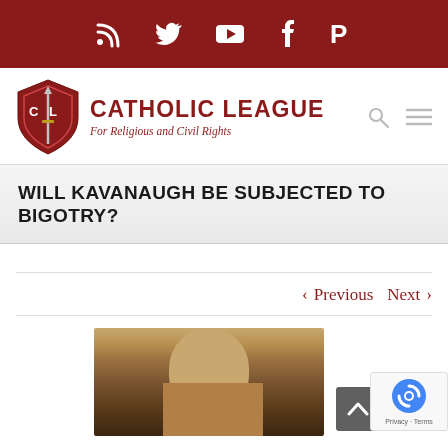Social media icons bar (RSS, Twitter, YouTube, Facebook, Parler)
[Figure (logo): Catholic League shield logo with text 'CATHOLIC LEAGUE For Religious and Civil Rights']
WILL KAVANAUGH BE SUBJECTED TO BIGOTRY?
< Previous   Next >
[Figure (photo): Partial photo of a person (presumably Brett Kavanaugh), cropped at bottom of page]